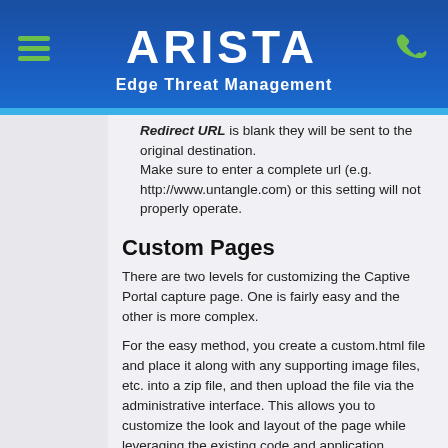[Figure (logo): Arista Edge Threat Management header with hamburger menu icon on left, ARISTA logo in center, phone icon on right, and 'Edge Threat Management' subtitle below]
Redirect URL is blank they will be sent to the original destination.
Make sure to enter a complete url (e.g. http://www.untangle.com) or this setting will not properly operate.
Custom Pages
There are two levels for customizing the Captive Portal capture page. One is fairly easy and the other is more complex.
For the easy method, you create a custom.html file and place it along with any supporting image files, etc. into a zip file, and then upload the file via the administrative interface. This allows you to customize the look and layout of the page while leveraging the existing code and application settings. To use this model, you need to be familiar with HTML and forms. We